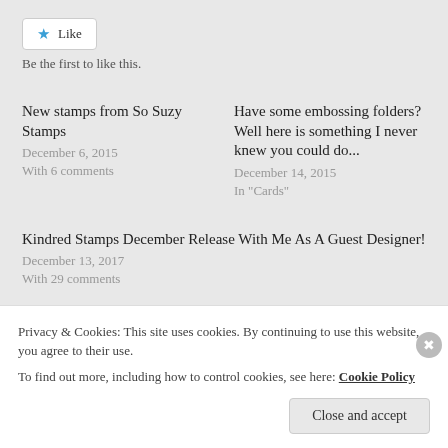[Figure (other): Like button with blue star icon and white background with border]
Be the first to like this.
New stamps from So Suzy Stamps
December 6, 2015
With 6 comments
Have some embossing folders? Well here is something I never knew you could do...
December 14, 2015
In "Cards"
Kindred Stamps December Release With Me As A Guest Designer!
December 13, 2017
With 29 comments
Privacy & Cookies: This site uses cookies. By continuing to use this website, you agree to their use.
To find out more, including how to control cookies, see here: Cookie Policy
Close and accept